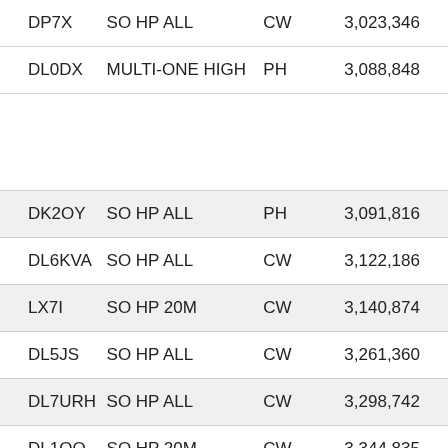| DP7X | SO HP ALL | CW | 3,023,346 |
| DL0DX | MULTI-ONE HIGH | PH | 3,088,848 |
| DK2OY | SO HP ALL | PH | 3,091,816 |
| DL6KVA | SO HP ALL | CW | 3,122,186 |
| LX7I | SO HP 20M | CW | 3,140,874 |
| DL5JS | SO HP ALL | CW | 3,261,360 |
| DL7URH | SO HP ALL | CW | 3,298,742 |
| DL1QQ | SO HP 20M | CW | 3,344,835 |
| DJ5AN | SO HP ALL | PH | 3,500,332 |